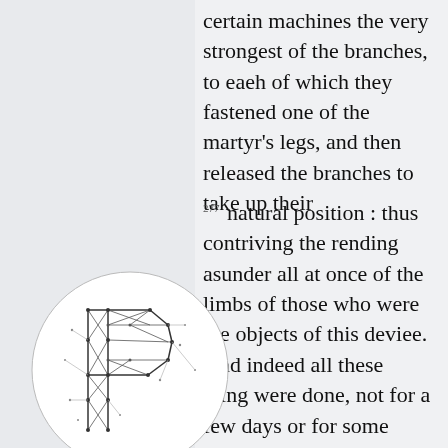certain machines the very strongest of the branches, to eaeh of which they fastened one of the martyr's legs, and then released the branches to take up their
277 natural position : thus contriving the rending asunder all at once of the limbs of those who were the objects of this deviee. And indeed all these thing were done, not for a few days or for some brief space, but for a long period extending over whole years —sometimes more than ten, at other times above
[Figure (logo): Circular logo with a geometric letter P made of triangular scaffolding/truss structure with dots and connecting lines, on a light background.]